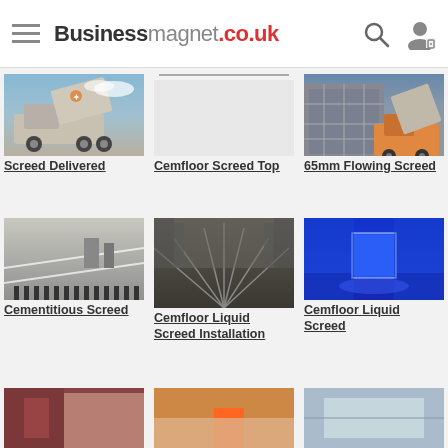Businessmagnet.co.uk
[Figure (photo): Construction truck/vehicle with large machinery tilted upward, blue sky background - Screed Delivered]
Screed Delivered
[Figure (photo): Cemfloor Screed Top product image with horizontal line divider]
Cemfloor Screed Top
[Figure (photo): Large orange truck next to scaffolded building - 65mm Flowing Screed]
65mm Flowing Screed
[Figure (photo): Wet screed floor with drainage strips - Cementitious Screed]
Cementitious Screed
[Figure (photo): Dark floor with pipe lines installation - Cemfloor Liquid Screed Installation]
Cemfloor Liquid Screed Installation
[Figure (photo): Bright blue reflective floor interior - Cemfloor Liquid Screed]
Cemfloor Liquid Screed
[Figure (photo): Bottom left image - partial view]
[Figure (photo): Bottom center image - partial view]
[Figure (photo): Bottom right image - partial view]